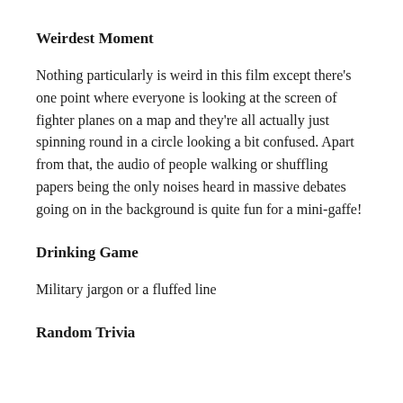Weirdest Moment
Nothing particularly is weird in this film except there’s one point where everyone is looking at the screen of fighter planes on a map and they’re all actually just spinning round in a circle looking a bit confused. Apart from that, the audio of people walking or shuffling papers being the only noises heard in massive debates going on in the background is quite fun for a mini-gaffe!
Drinking Game
Military jargon or a fluffed line
Random Trivia